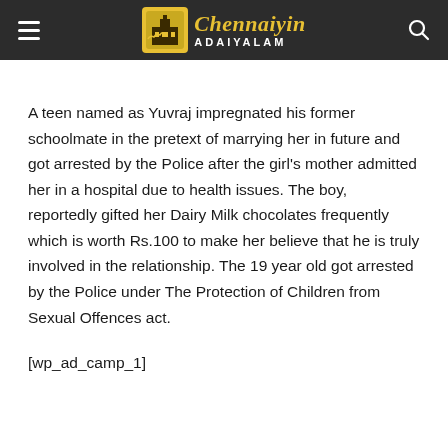Chennaiyin ADAIYALAM
A teen named as Yuvraj impregnated his former schoolmate in the pretext of marrying her in future and got arrested by the Police after the girl’s mother admitted her in a hospital due to health issues. The boy, reportedly gifted her Dairy Milk chocolates frequently which is worth Rs.100 to make her believe that he is truly involved in the relationship. The 19 year old got arrested by the Police under The Protection of Children from Sexual Offences act.
[wp_ad_camp_1]